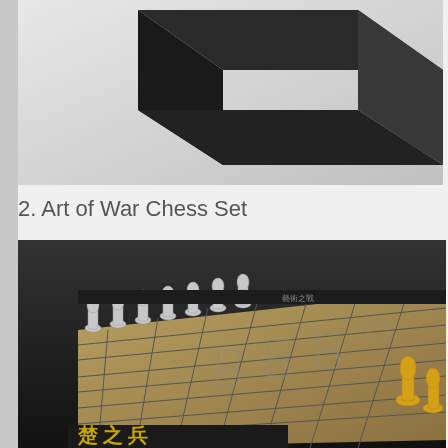[Figure (photo): Black geometric box or display case photographed against a light gray background, shown from an angled perspective. The box is dark matte black with sharp edges and corners visible.]
2. Art of War Chess Set
[Figure (photo): Art of War Chess Set showing silver and gold chess pieces styled as ancient Chinese warriors (terracotta army style) arranged on a dark chess board with gold/brass colored square grid. Chinese characters are visible on the front border of the board. Gold pieces are visible on the right side, silver pieces on the left.]